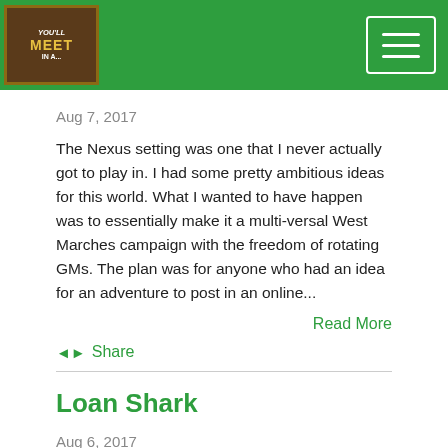YOU'LL MEET IN A...
Aug 7, 2017
The Nexus setting was one that I never actually got to play in. I had some pretty ambitious ideas for this world. What I wanted to have happen was to essentially make it a multi-versal West Marches campaign with the freedom of rotating GMs. The plan was for anyone who had an idea for an adventure to post in an online...
Read More
Share
Loan Shark
Aug 6, 2017